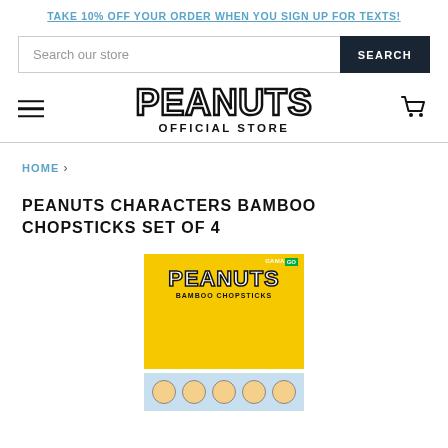TAKE 10% OFF YOUR ORDER WHEN YOU SIGN UP FOR TEXTS!
Search our store
[Figure (logo): Peanuts Official Store logo with bold outlined text and subtitle]
HOME ›
PEANUTS CHARACTERS BAMBOO CHOPSTICKS SET OF 4
[Figure (photo): Product photo of Peanuts Characters Bamboo Chopsticks Set of 4 in yellow packaging with characters shown at bottom]